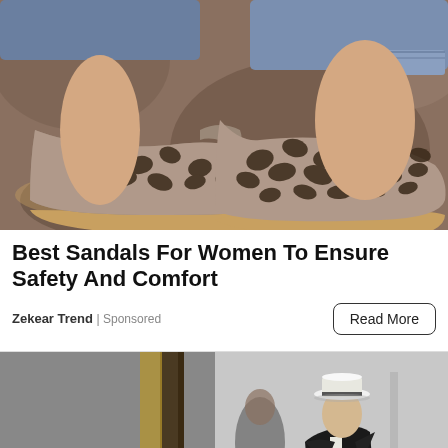[Figure (photo): Close-up photo of a pair of grey/taupe women's suede sandals with intricate laser-cut floral pattern, worn over jeans, photographed against a rocky stone background]
Best Sandals For Women To Ensure Safety And Comfort
Zekear Trend | Sponsored
[Figure (photo): Photo of an elderly man in a black suit and wide-brimmed white hat, photographed on a street, partially cropped at the bottom]